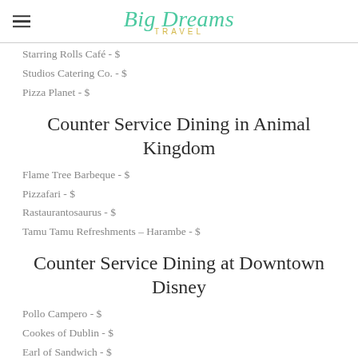Big Dreams Travel
Starring Rolls Café - $
Studios Catering Co. - $
Pizza Planet - $
Counter Service Dining in Animal Kingdom
Flame Tree Barbeque - $
Pizzafari - $
Rastaurantosaurus - $
Tamu Tamu Refreshments – Harambe - $
Counter Service Dining at Downtown Disney
Pollo Campero - $
Cookes of Dublin - $
Earl of Sandwich - $